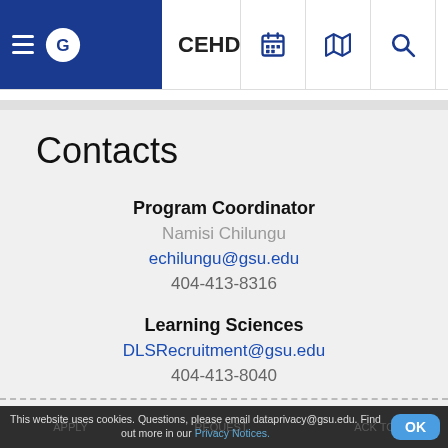CEHD
Contacts
Program Coordinator
Namisi Chilungu
echilungu@gsu.edu
404-413-8316
Learning Sciences
DLSRecruitment@gsu.edu
404-413-8040
This website uses cookies. Questions, please email dataprivacy@gsu.edu. Find out more in our Privacy Notices.